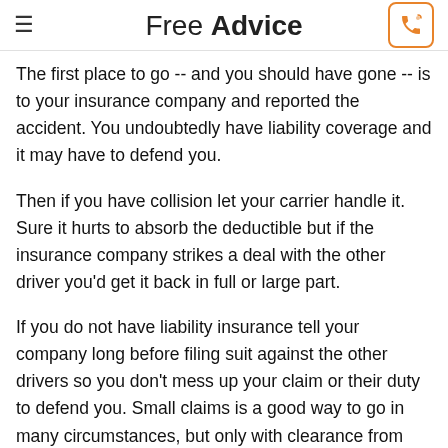Free Advice
The first place to go -- and you should have gone -- is to your insurance company and reported the accident. You undoubtedly have liability coverage and it may have to defend you.
Then if you have collision let your carrier handle it. Sure it hurts to absorb the deductible but if the insurance company strikes a deal with the other driver you'd get it back in full or large part.
If you do not have liability insurance tell your company long before filing suit against the other drivers so you don't mess up your claim or their duty to defend you. Small claims is a good way to go in many circumstances, but only with clearance from your carrier.